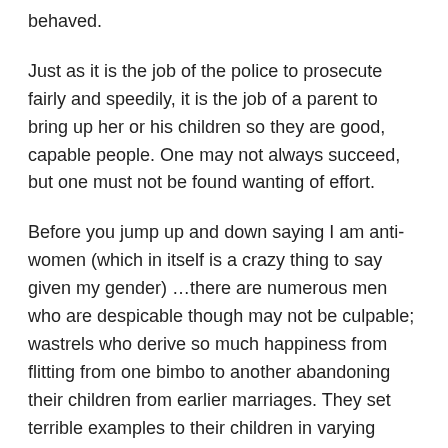behaved.
Just as it is the job of the police to prosecute fairly and speedily, it is the job of a parent to bring up her or his children so they are good, capable people. One may not always succeed, but one must not be found wanting of effort.
Before you jump up and down saying I am anti-women (which in itself is a crazy thing to say given my gender) …there are numerous men who are despicable though may not be culpable; wastrels who derive so much happiness from flitting from one bimbo to another abandoning their children from earlier marriages. They set terrible examples to their children in varying degrees of course, who are detrimental to